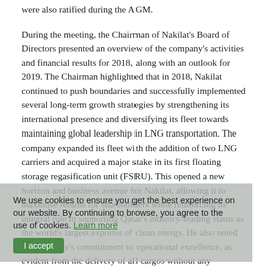were also ratified during the AGM.
During the meeting, the Chairman of Nakilat's Board of Directors presented an overview of the company's activities and financial results for 2018, along with an outlook for 2019. The Chairman highlighted that in 2018, Nakilat continued to push boundaries and successfully implemented several long-term growth strategies by strengthening its international presence and diversifying its fleet towards maintaining global leadership in LNG transportation. The company expanded its fleet with the addition of two LNG carriers and acquired a major stake in its first floating storage regasification unit (FSRU). This opened a new horizon and business avenue for Nakilat, allowing it to maximise returns for shareholders while reinforcing its integral role in supporting Qatar's industry-leading status as the world's largest exporter of clean energy. He also noted the company's commitment to operational excellence, as evident from the delivery of all cargos without any interruptions worldwide, despite the challenges brought about by the ongoing unjust blockade imposed on Qatar by neighbouring countries.
In addition, the Chairman elaborated that leveraging on internal synergies of its local joint ventures housed at the world-class Erhama Bin Jaber Al Jalahma Shipyard in Ras Laffan gives Nakilat an added strategic advantage. The integrated services of ship repair